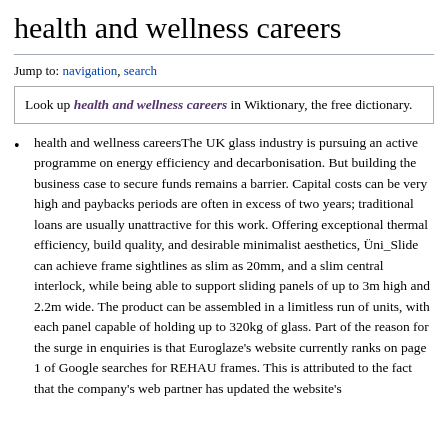health and wellness careers
Jump to: navigation, search
Look up health and wellness careers in Wiktionary, the free dictionary.
health and wellness careersThe UK glass industry is pursuing an active programme on energy efficiency and decarbonisation. But building the business case to secure funds remains a barrier. Capital costs can be very high and paybacks periods are often in excess of two years; traditional loans are usually unattractive for this work. Offering exceptional thermal efficiency, build quality, and desirable minimalist aesthetics, Üni_Slide can achieve frame sightlines as slim as 20mm, and a slim central interlock, while being able to support sliding panels of up to 3m high and 2.2m wide. The product can be assembled in a limitless run of units, with each panel capable of holding up to 320kg of glass. Part of the reason for the surge in enquiries is that Euroglaze's website currently ranks on page 1 of Google searches for REHAU frames. This is attributed to the fact that the company's web partner has updated the website's